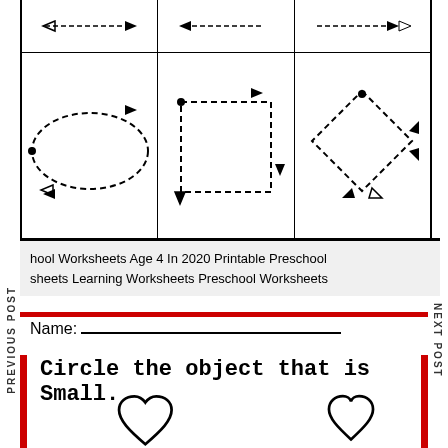[Figure (illustration): Worksheet top section showing three rows of dashed shapes with directional arrows for tracing: top row partially visible (arrows), middle row showing an oval, a square, and a diamond shape all with dashed outlines and arrows]
PREVIOUS POST
NEXT POST
hool Worksheets Age 4 In 2020 Printable Preschool sheets Learning Worksheets Preschool Worksheets
Name: ___________________________________________
Circle the object that is Small.
[Figure (illustration): Two heart outlines: a large heart on the left and a smaller heart on the right, for a 'circle the small object' activity]